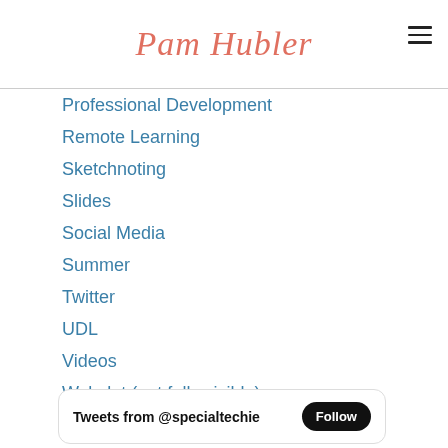Pam Hubler
Professional Development
Remote Learning
Sketchnoting
Slides
Social Media
Summer
Twitter
UDL
Videos
Wakelet
Websites
RSS Feed
Tweets from @specialtechie  Follow